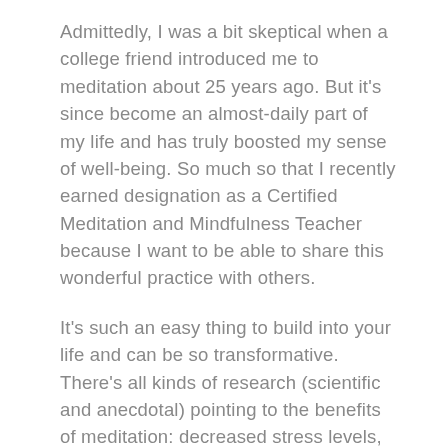Admittedly, I was a bit skeptical when a college friend introduced me to meditation about 25 years ago. But it's since become an almost-daily part of my life and has truly boosted my sense of well-being. So much so that I recently earned designation as a Certified Meditation and Mindfulness Teacher because I want to be able to share this wonderful practice with others.
It's such an easy thing to build into your life and can be so transformative. There's all kinds of research (scientific and anecdotal) pointing to the benefits of meditation: decreased stress levels, improved sleep, a stronger ability to respond rather than react to situations…and if that's not enough to convince you, that's because the list